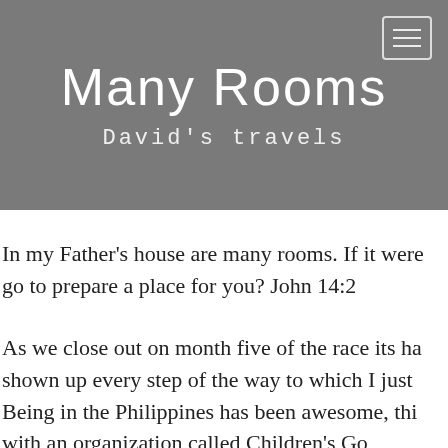Many Rooms
David's travels
In my Father's house are many rooms. If it were go to prepare a place for you? John 14:2
As we close out on month five of the race its ha shown up every step of the way to which I just Being in the Philippines has been awesome, thi with an organization called Children's Go...